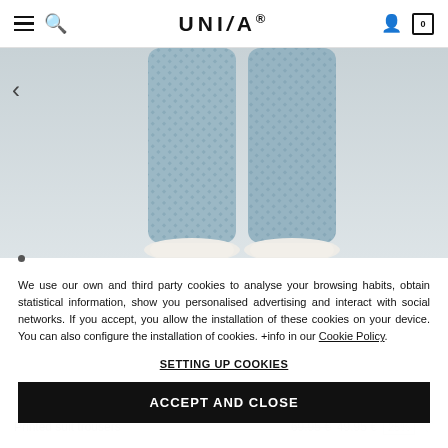UNISA — navigation header with hamburger menu, search, logo, user and bag icons
[Figure (photo): Product photo showing legs wearing light blue printed suit trousers with white shoes, on a grey background. A left-arrow navigation control is visible on the left side.]
We use our own and third party cookies to analyse your browsing habits, obtain statistical information, show you personalised advertising and interact with social networks. If you accept, you allow the installation of these cookies on your device. You can also configure the installation of cookies. +info in our Cookie Policy.
SETTING UP COOKIES
ACCEPT AND CLOSE
Printed suit trousers
69.95 € 49.95 € 25%